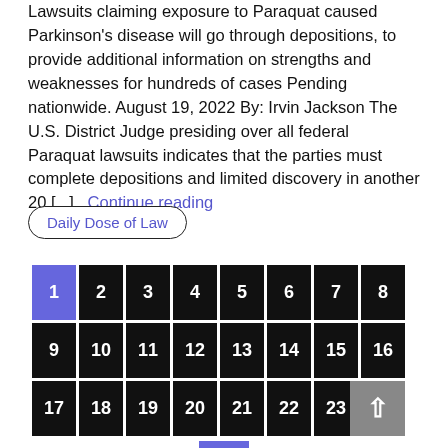Lawsuits claiming exposure to Paraquat caused Parkinson's disease will go through depositions, to provide additional information on strengths and weaknesses for hundreds of cases Pending nationwide. August 19, 2022 By: Irvin Jackson The U.S. District Judge presiding over all federal Paraquat lawsuits indicates that the parties must complete depositions and limited discovery in another 20 [...] ...Continue reading
Daily Dose of Law
[Figure (other): Pagination grid with pages 1-24, page 1 highlighted in purple/blue, on black background tiles, with a next arrow button below]